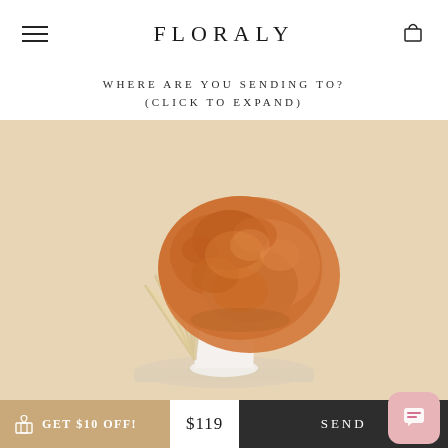FLORALY
WHERE ARE YOU SENDING TO?
(CLICK TO EXPAND)
[Figure (photo): Close-up product photo of dried orange hydrangea flowers in a white ceramic vase on a white circular tray, with a palm leaf fan behind the flowers, light background with warm amber/orange tones.]
THE TALULA | DRIED FLOWERS
🎁 GET $10 OFF!  $119  SEND